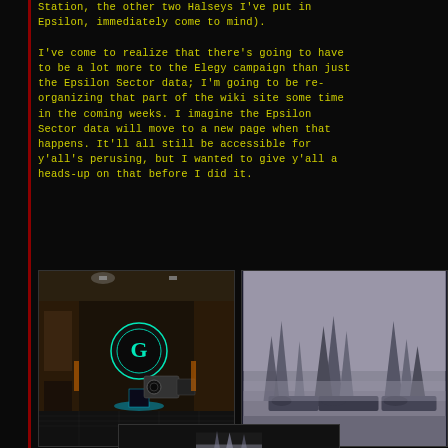Station, the other two Halseys I've put in Epsilon, immediately come to mind).

I've come to realize that there's going to have to be a lot more to the Elegy campaign than just the Epsilon Sector data; I'm going to be re-organizing that part of the wiki site some time in the coming weeks. I imagine the Epsilon Sector data will move to a new page when that happens. It'll all still be accessible for y'all's perusing, but I wanted to give y'all a heads-up on that before I did it.
[Figure (screenshot): Interior game screenshot showing a large hall with sci-fi architecture, a glowing emblem on the wall, and a camera-like device in the foreground. Dark industrial aesthetic with amber and cyan lighting.]
[Figure (screenshot): Exterior game screenshot showing alien or sci-fi spire structures on a misty/dusty terrain with a grey-purple atmospheric background.]
[Figure (screenshot): Another game screenshot partially visible at bottom, showing interior space with similar spire-like structures visible from inside.]